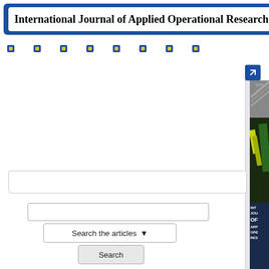International Journal of Applied Operational Research
[Figure (screenshot): Navigation icon row with blue diamond/square icons with yellow centers]
[Figure (screenshot): Expand/resize button (blue arrow pointing bottom-right) above a light gray content panel]
[Figure (screenshot): Partial journal cover showing 'INT JOU OF APR OPE RES' text on dark blue background with yellow-green graphic elements]
[Figure (screenshot): Search input field (empty text box)]
Search the articles ▾
Search